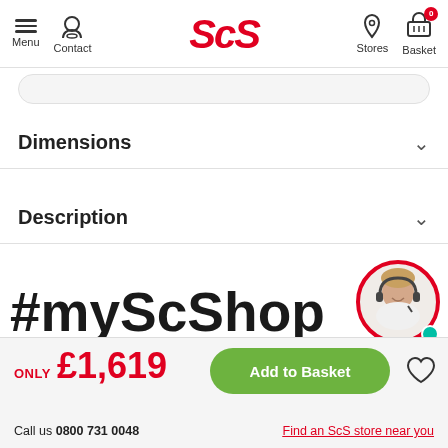Menu | Contact | ScS | Stores | Basket 0
Dimensions
Description
#myScShop
[Figure (photo): Customer service agent with headset in circular avatar with red border and teal online status dot]
ONLY £1,619
Add to Basket
Call us 0800 731 0048
Find an ScS store near you